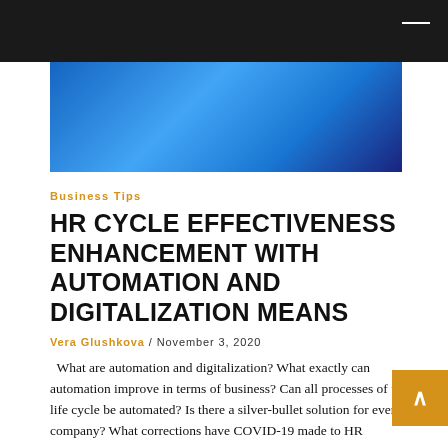[Figure (photo): Dark top navigation bar with a white dash/menu icon on the right side]
[Figure (photo): Blue gradient hero image background, transitioning from bright blue to dark navy]
Business Tips
HR CYCLE EFFECTIVENESS ENHANCEMENT WITH AUTOMATION AND DIGITALIZATION MEANS
Vera Glushkova / November 3, 2020
What are automation and digitalization? What exactly can automation improve in terms of busi[ness?] Can all processes of the HR life cycle be automated? Is there a silver-bullet solution for every company? What corrections have COVID-19 made to HR